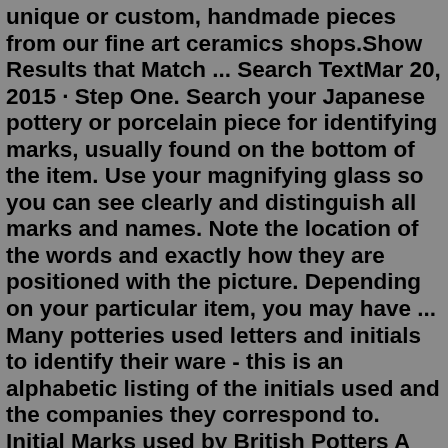unique or custom, handmade pieces from our fine art ceramics shops.Show Results that Match ... Search TextMar 20, 2015 · Step One. Search your Japanese pottery or porcelain piece for identifying marks, usually found on the bottom of the item. Use your magnifying glass so you can see clearly and distinguish all marks and names. Note the location of the words and exactly how they are positioned with the picture. Depending on your particular item, you may have ... Many potteries used letters and initials to identify their ware - this is an alphabetic listing of the initials used and the companies they correspond to. Initial Marks used by British Potters A simple guide to understanding the basics of the marks and dates on the underside of pottery. General guide to Ceramic Marks & DatingWedgwood marks from 1759-1780. The first impressed mark on earthenware from 1759-1769. A rare mark. Used on the bell works from 1764-1769. Often shown in different sizes, this mark was used in 1759 and 1769. Used in 1769, this mark is a circle mark without rims. Used from 1769-1780, this